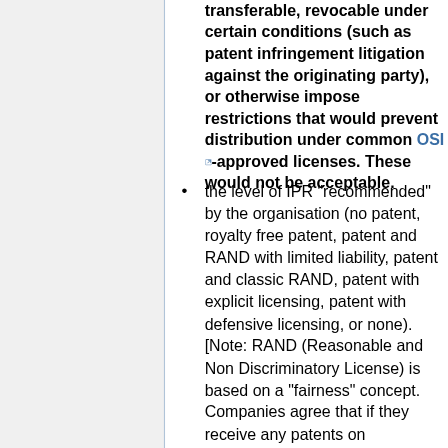transferable, revocable under certain conditions (such as patent infringement litigation against the originating party), or otherwise impose restrictions that would prevent distribution under common OSI-approved licenses. These would not be acceptable.
the level of IPR "recommended" by the organisation (no patent, royalty free patent, patent and RAND with limited liability, patent and classic RAND, patent with explicit licensing, patent with defensive licensing, or none). [Note: RAND (Reasonable and Non Discriminatory License) is based on a "fairness" concept. Companies agree that if they receive any patents on technologies that become essential to the standard